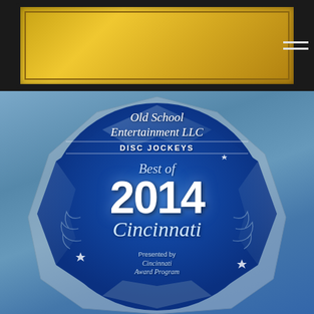[Figure (photo): Top banner showing a gold award plaque partially visible against a dark background, with a hamburger menu icon in the top right corner]
[Figure (photo): A crystal/glass diamond-shaped award plaque with a blue face. Text reads: Old School Entertainment LLC, DISC JOCKEYS, Best of 2014, Cincinnati. Presented by Cincinnati Award Program. The award is set against a blue-grey background.]